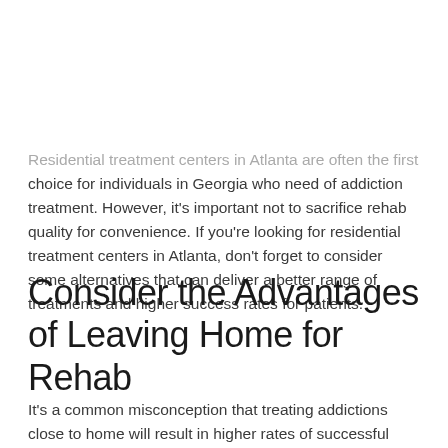Residential treatment centers in Atlanta are often the first choice for individuals in Georgia who need of addiction treatment. However, it's important not to sacrifice rehab quality for convenience. If you're looking for residential treatment centers in Atlanta, don't forget to consider some alternatives that can deliver a better range of treatments and higher success rates for patients.
Consider the Advantages of Leaving Home for Rehab
It's a common misconception that treating addictions close to home will result in higher rates of successful sobriety. In reality, leaving home for treatment can mean